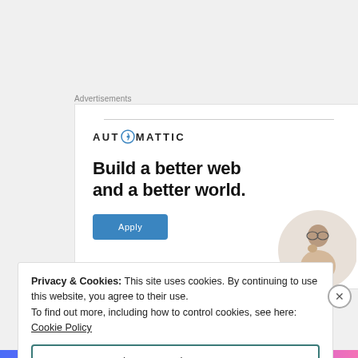Advertisements
[Figure (screenshot): Automattic advertisement banner showing logo, headline 'Build a better web and a better world.', an Apply button, and a photo of a person thinking]
Privacy & Cookies: This site uses cookies. By continuing to use this website, you agree to their use.
To find out more, including how to control cookies, see here: Cookie Policy
Close and accept